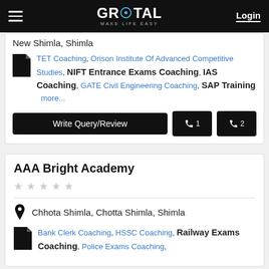GROTAL MAKE LIFE EASY | Login
New Shimla, Shimla
TET Coaching, Orison Institute Of Advanced Competitive Studies, NIFT Entrance Exams Coaching, IAS Coaching, GATE Civil Engineering Coaching, SAP Training more...
Write Query/Review | Phone 1 | Phone 2
AAA Bright Academy
★★★★★ (no rating)
Chhota Shimla, Chotta Shimla, Shimla
Bank Clerk Coaching, HSSC Coaching, Railway Exams Coaching, Police Exams Coaching,